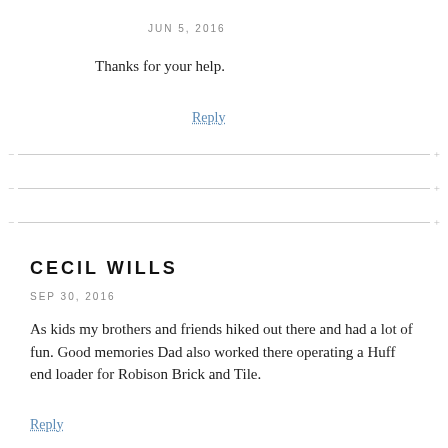JUN 5, 2016
Thanks for your help.
Reply
CECIL WILLS
SEP 30, 2016
As kids my brothers and friends hiked out there and had a lot of fun. Good memories Dad also worked there operating a Huff end loader for Robison Brick and Tile.
Reply